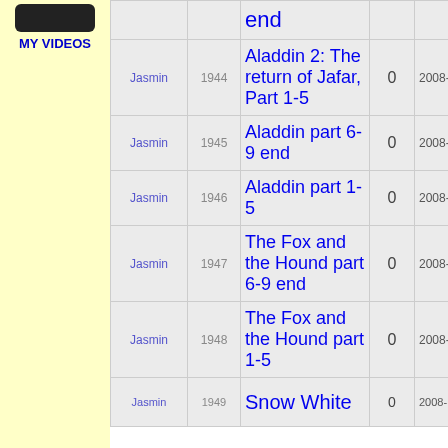[Figure (screenshot): MY VIDEOS sidebar icon and label]
| User | ID | Title | Count | Date |
| --- | --- | --- | --- | --- |
|  |  | end | 0 |  |
| Jasmin | 1944 | Aladdin 2: The return of Jafar, Part 1-5 | 0 | 2008-12-08 19:37:4 |
| Jasmin | 1945 | Aladdin part 6-9 end | 0 | 2008-12-08 19:36:5 |
| Jasmin | 1946 | Aladdin part 1-5 | 0 | 2008-12-08 19:34:5 |
| Jasmin | 1947 | The Fox and the Hound part 6-9 end | 0 | 2008-12-08 19:30:0 |
| Jasmin | 1948 | The Fox and the Hound part 1-5 | 0 | 2008-12-08 19:29:0 |
| Jasmin | 1949 | Snow White | 0 | 2008-12-08 19:04:0 |